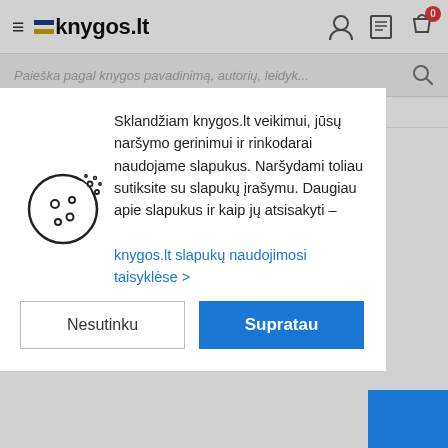knygos.lt
Paieška pagal knygos pavadinimą, autorių, leidyk...
Dalykinė literatūra / ... / Politikos mokslai
[Figure (illustration): Cookie icon — a cookie with a bite taken out, surrounded by small circles representing crumbs]
Sklandžiam knygos.lt veikimui, jūsų naršymo gerinimui ir rinkodarai naudojame slapukus. Naršydami toliau sutiksite su slapukų įrašymu. Daugiau apie slapukus ir kaip jų atsisakyti – knygos.lt slapukų naudojimosi taisyklėse >
Nesutinku
Supratau